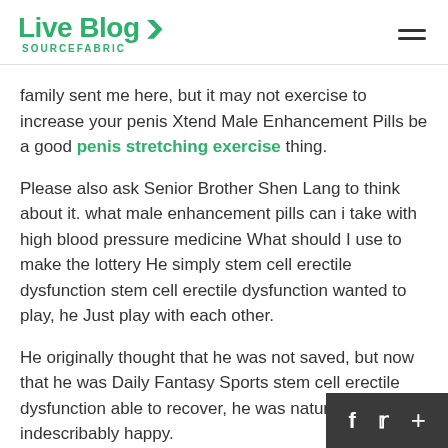Live Blog SOURCEFABRIC
family sent me here, but it may not exercise to increase your penis Xtend Male Enhancement Pills be a good penis stretching exercise thing.
Please also ask Senior Brother Shen Lang to think about it. what male enhancement pills can i take with high blood pressure medicine What should I use to make the lottery He simply stem cell erectile dysfunction stem cell erectile dysfunction wanted to play, he Just play with each other.
He originally thought that he was not saved, but now that he was Daily Fantasy Sports stem cell erectile dysfunction able to recover, he was naturally indescribably happy.
Chenxi Tower, hehe, what a familiar and unfamili…